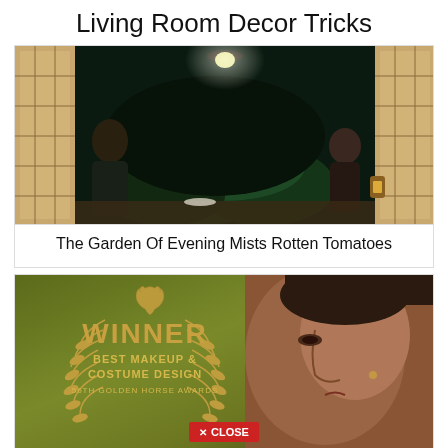Living Room Decor Tricks
[Figure (photo): Two people facing each other in a Japanese-style room with shoji screens; a glowing light hangs above a dark garden view through an open doorway. A lantern sits on the right side.]
The Garden Of Evening Mists Rotten Tomatoes
[Figure (photo): Award laurel graphic on olive/gold background reading WINNER BEST MAKEUP & COSTUME DESIGN 56th Golden Horse Awards, overlaid on a close-up of a woman's face in profile. A red CLOSE button is visible at the bottom center.]